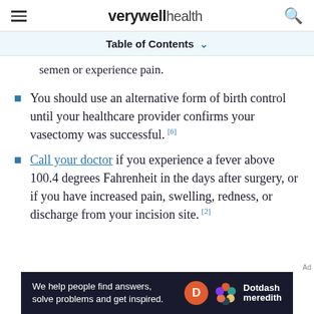verywell health
Table of Contents
semen or experience pain.
You should use an alternative form of birth control until your healthcare provider confirms your vasectomy was successful. [6]
Call your doctor if you experience a fever above 100.4 degrees Fahrenheit in the days after surgery, or if you have increased pain, swelling, redness, or discharge from your incision site. [2]
[Figure (screenshot): Dotdash Meredith advertisement banner: 'We help people find answers, solve problems and get inspired.' with Dotdash Meredith logo]